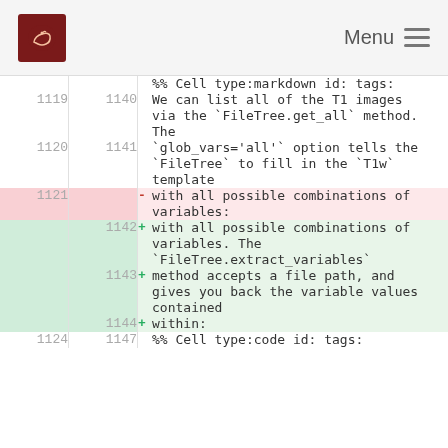Menu
Diff view of notebook changes showing lines 1119-1124 (old) and 1140-1147 (new). Content includes markdown cell type declarations, FileTree.get_all method description, glob_vars='all' option explanation, and FileTree.extract_variables method description.